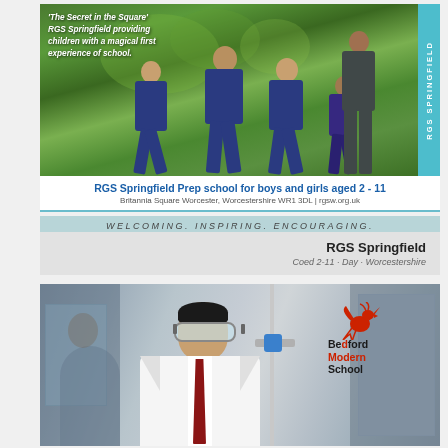[Figure (photo): Children running outdoors in school uniforms at RGS Springfield, with green trees/bushes in background. Cyan vertical banner on right reading 'RGS SPRINGFIELD'. White text overlay at top-left.]
'The Secret in the Square' RGS Springfield providing children with a magical first experience of school.
RGS Springfield Prep school for boys and girls aged 2 - 11
Britannia Square Worcester, Worcestershire WR1 3DL | rgsw.org.uk
WELCOMING. INSPIRING. ENCOURAGING.
RGS Springfield
Coed 2-11 · Day · Worcestershire
[Figure (photo): Student in white lab coat and safety goggles working with laboratory equipment (vertical stand/clamp with blue fitting). Bedford Modern School logo visible in upper right with red phoenix/eagle bird graphic.]